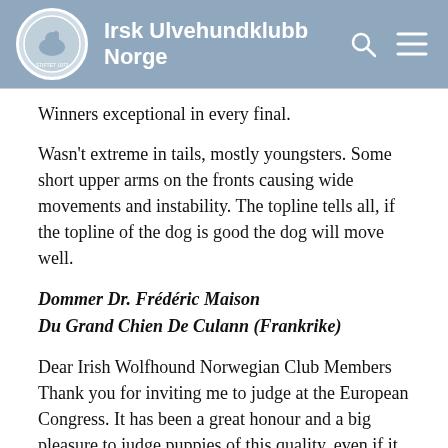Irsk Ulvehundklubb Norge
Winners exceptional in every final.
Wasn't extreme in tails, mostly youngsters. Some short upper arms on the fronts causing wide movements and instability. The topline tells all, if the topline of the dog is good the dog will move well.
Dommer Dr. Frédéric Maison
Du Grand Chien De Culann (Frankrike)
Dear Irish Wolfhound Norwegian Club Members Thank you for inviting me to judge at the European Congress. It has been a great honour and a big pleasure to judge puppies of this quality, even if it is not an easy work. They were all good in the type and had lots of substance. Their movement could hav...